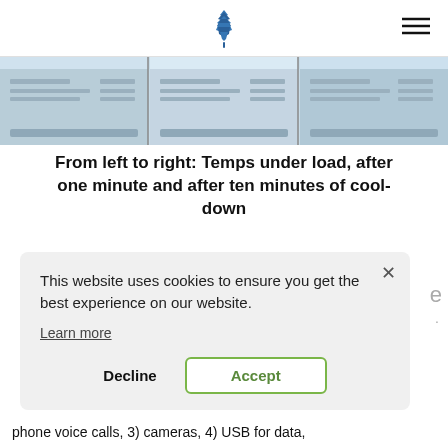[Figure (screenshot): Three side-by-side screenshots showing temperature readings under load, after one minute, and after ten minutes of cool-down]
From left to right: Temps under load, after one minute and after ten minutes of cool-down
[Figure (screenshot): Cookie consent popup dialog with close button, text 'This website uses cookies to ensure you get the best experience on our website.', Learn more link, Decline button and Accept button]
phone voice calls, 3) cameras, 4) USB for data,